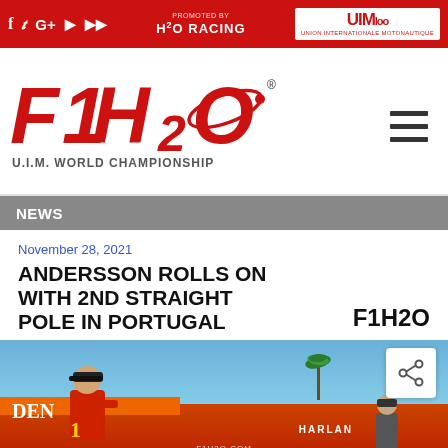F1H2O U.I.M. World Championship - H2O Racing - UIM 100 Years
[Figure (logo): F1H2O U.I.M. World Championship logo in red with orbital ring design]
NEWS
November 28, 2021
ANDERSSON ROLLS ON WITH 2ND STRAIGHT POLE IN PORTUGAL
[Figure (photo): Racing driver in red gear at F1H2O event in Portugal, with red race boat visible and palm trees in background]